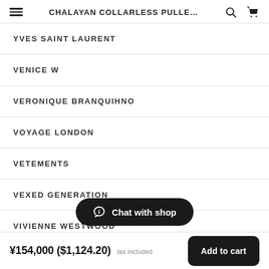CHALAYAN COLLARLESS PULLE...
YVES SAINT LAURENT
VENICE W
VERONIQUE BRANQUIHNO
VOYAGE LONDON
VETEMENTS
VEXED GENERATION
VIVIENNE WESTWOOD
Chat with shop
¥154,000 ($1,124.20) tax included  Add to cart